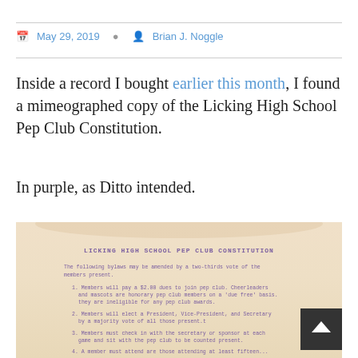May 29, 2019  Brian J. Noggle
Inside a record I bought earlier this month, I found a mimeographed copy of the Licking High School Pep Club Constitution.
In purple, as Ditto intended.
[Figure (photo): A mimeographed copy of the Licking High School Pep Club Constitution printed in purple ink on yellowed paper. The document shows the title 'LICKING HIGH SCHOOL PEP CLUB CONSTITUTION' followed by bylaws text including numbered items about dues, elections, and attendance requirements.]